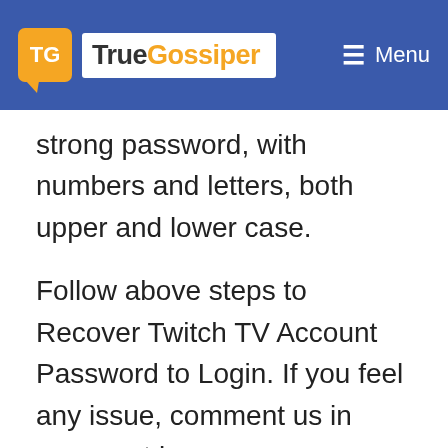TrueGossiper — Menu
strong password, with numbers and letters, both upper and lower case.
Follow above steps to Recover Twitch TV Account Password to Login. If you feel any issue, comment us in comment box.
We use cookies on our website to give you the most relevant experience by remembering your preferences and repeat visits. By clicking “Accept All”, you consent to the use of ALL the cookies. However, you may visit "Cookie Settings" to provide a controlled consent.